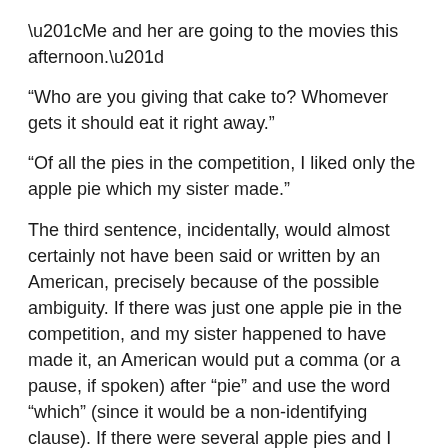“Me and her are going to the movies this afternoon.”
“Who are you giving that cake to? Whomever gets it should eat it right away.”
“Of all the pies in the competition, I liked only the apple pie which my sister made.”
The third sentence, incidentally, would almost certainly not have been said or written by an American, precisely because of the possible ambiguity. If there was just one apple pie in the competition, and my sister happened to have made it, an American would put a comma (or a pause, if spoken) after “pie” and use the word “which” (since it would be a non-identifying clause). If there were several apple pies and I liked only the one my sister made, an American would use the word “that” instead of “which”.